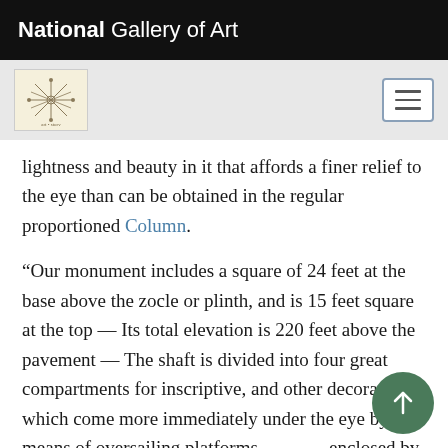National Gallery of Art
[Figure (logo): National Gallery of Art navigation bar with decorative logo icon and hamburger menu button]
lightness and beauty in it that affords a finer relief to the eye than can be obtained in the regular proportioned Column.
“Our monument includes a square of 24 feet at the base above the zocle or plinth, and is 15 feet square at the top — Its total elevation is 220 feet above the pavement — The shaft is divided into four great compartments for inscriptive, and other decorations, which come more immediately under the eye by means of oversailing platforms, enclosed by balastrades, supported as it were by